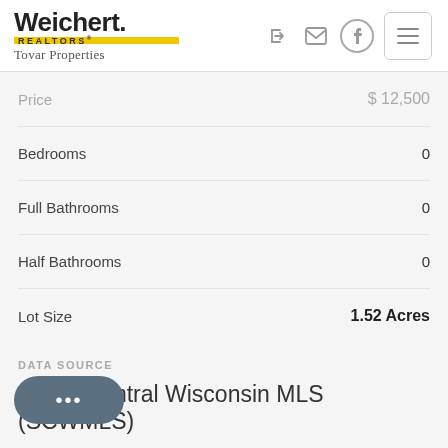[Figure (logo): Weichert Realtors Tovar Properties logo with yellow bar]
Price    $12,500
Bedrooms    0
Full Bathrooms    0
Half Bathrooms    0
Lot Size    1.52 Acres
DATA SOURCE
South Central Wisconsin MLS (SCWMLS)
DESCRIPTION
Looking for a majestic place to build your dream home? Look no